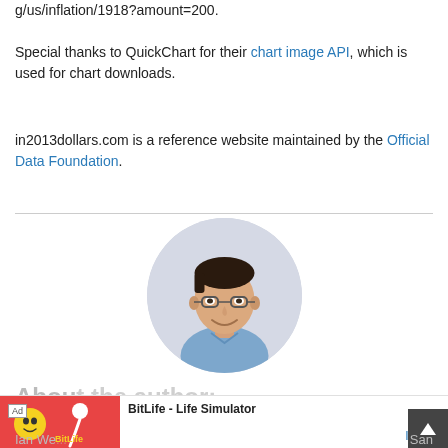g/us/inflation/1918?amount=200.
Special thanks to QuickChart for their chart image API, which is used for chart downloads.
in2013dollars.com is a reference website maintained by the Official Data Foundation.
[Figure (photo): Circular profile photo of a young man with dark hair, glasses, and a blue collared shirt, on a light gray background.]
About the author:
Ad — BitLife - Life Simulator — Install!
Ian We...
San